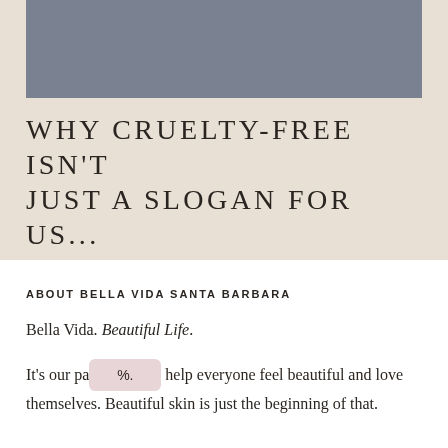[Figure (photo): Gray rectangular image placeholder at the top of the page on a beige/tan background]
WHY CRUELTY-FREE ISN'T JUST A SLOGAN FOR US...
ABOUT BELLA VIDA SANTA BARBARA
Bella Vida. Beautiful Life.
It's our passion to help everyone feel beautiful and love themselves. Beautiful skin is just the beginning of that.